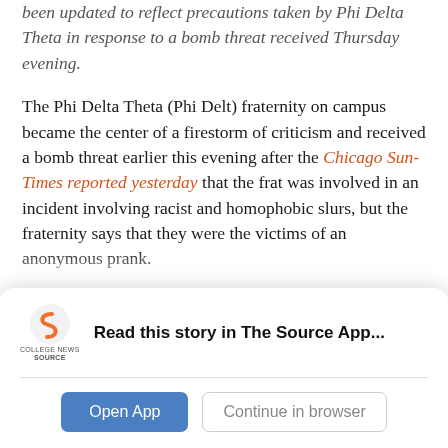been updated to reflect precautions taken by Phi Delta Theta in response to a bomb threat received Thursday evening.
The Phi Delta Theta (Phi Delt) fraternity on campus became the center of a firestorm of criticism and received a bomb threat earlier this evening after the Chicago Sun-Times reported yesterday that the frat was involved in an incident involving racist and homophobic slurs, but the fraternity says that they were the victims of an anonymous prank.
Phi Delt president and third-year Piotr Wilk said that the fraternity was not evacuated from their house because
[Figure (screenshot): App download banner with College News Source logo, 'Read this story in The Source App...' text, and two buttons: 'Open App' and 'Continue in browser']